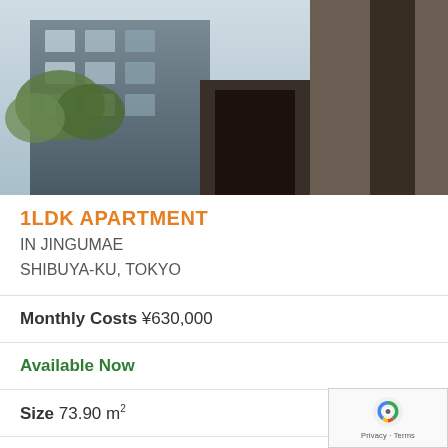[Figure (photo): Exterior photo of a modern apartment building in Tokyo, showing a concrete and glass facade with a street view, trees visible.]
1LDK APARTMENT
IN JINGUMAE
SHIBUYA-KU, TOKYO
Monthly Costs ¥630,000
Available Now
Size 73.90 m²
Deposit ¥630,000
Key Money ¥630,000
Floor 3 / 4F